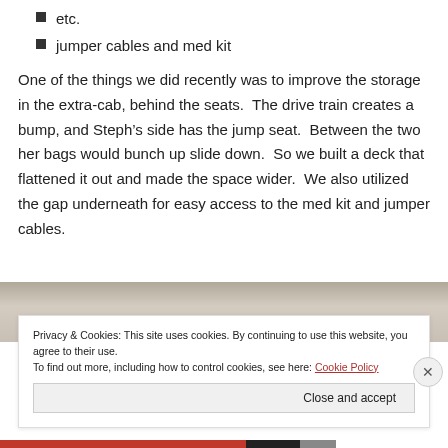etc.
jumper cables and med kit
One of the things we did recently was to improve the storage in the extra-cab, behind the seats.  The drive train creates a bump, and Steph’s side has the jump seat.  Between the two her bags would bunch up slide down.  So we built a deck that flattened it out and made the space wider.  We also utilized the gap underneath for easy access to the med kit and jumper cables.
[Figure (photo): Partial view of vehicle interior storage area, cropped at top]
Privacy & Cookies: This site uses cookies. By continuing to use this website, you agree to their use.
To find out more, including how to control cookies, see here: Cookie Policy
Close and accept